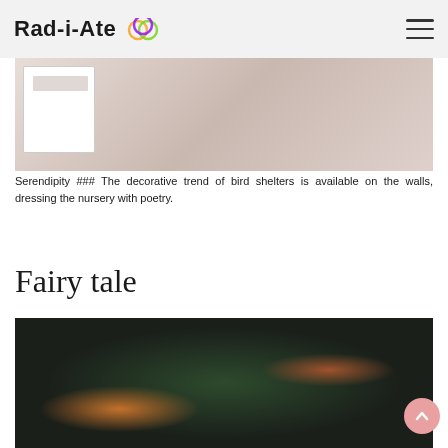Rad-i-Ate
[Figure (photo): Photo showing birdhouses/bird shelters mounted on a white wall, with a white cabinet or drawer visible on the left side.]
Serendipity ### The decorative trend of bird shelters is available on the walls, dressing the nursery with poetry.
Fairy tale
[Figure (photo): Dark wallpaper with illustrated forest animals including birds, rabbits, foxes, and dense dark foliage on a black background. A wooden spool/spindle sits in the foreground.]